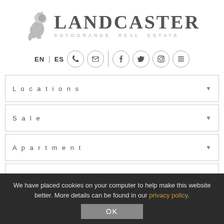[Figure (logo): Landcaster Sotogrande Real Estate logo with lion heraldic emblem and brand name]
EN | ES [phone icon] [email icon] | [facebook icon] [twitter icon] [instagram icon] [menu icon]
Locations
Sale
Apartment
Min. Beds
Min.
We have placed cookies on your computer to help make this website better. More details can be found in our privacy policy.
OK